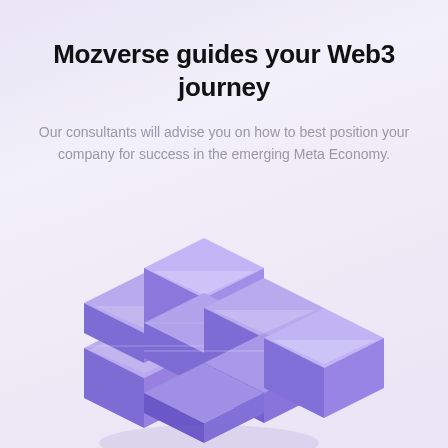Mozverse guides your Web3 journey
Our consultants will advise you on how to best position your company for success in the emerging Meta Economy.
[Figure (illustration): 3D isometric illustration of stacked purple/violet blockchain-like cubes or building blocks arranged in a cross/plus pattern, suggesting modular structure and Web3/blockchain concepts. The blocks have a gradient from light lavender to deep purple with white highlights.]